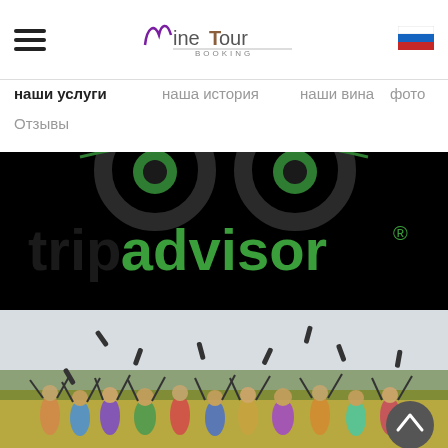Wine Tour Booking - header with logo, hamburger menu, and Russian flag
наши услуги
наша история
наши вина
фото
Отзывы
[Figure (logo): TripAdvisor logo on black background showing 'advisor®' in green text with owl icon above]
[Figure (photo): Group of people in a vineyard field tossing wine bottles into the air, celebrating outdoors]